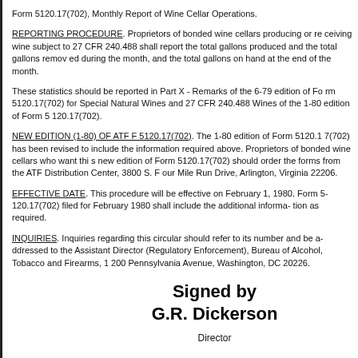Form 5120.17(702), Monthly Report of Wine Cellar Operations.
REPORTING PROCEDURE. Proprietors of bonded wine cellars producing or receiving wine subject to 27 CFR 240.488 shall report the total gallons produced and the total gallons removed during the month, and the total gallons on hand at the end of the month.
These statistics should be reported in Part X - Remarks of the 6-79 edition of Form 5120.17(702) for Special Natural Wines and 27 CFR 240.488 Wines of the 1-80 edition of Form 5120.17(702).
NEW EDITION (1-80) OF ATF F 5120.17(702). The 1-80 edition of Form 5120.17(702) has been revised to include the information required above. Proprietors of bonded wine cellars who want this new edition of Form 5120.17(702) should order the forms from the ATF Distribution Center, 3800 S. Four Mile Run Drive, Arlington, Virginia 22206.
EFFECTIVE DATE. This procedure will be effective on February 1, 1980. Form 5120.17(702) filed for February 1980 shall include the additional informa- tion as required.
INQUIRIES. Inquiries regarding this circular should refer to its number and be addressed to the Assistant Director (Regulatory Enforcement), Bureau of Alcohol, Tobacco and Firearms, 1200 Pennsylvania Avenue, Washington, DC 20226.
Signed by
G.R. Dickerson

Director